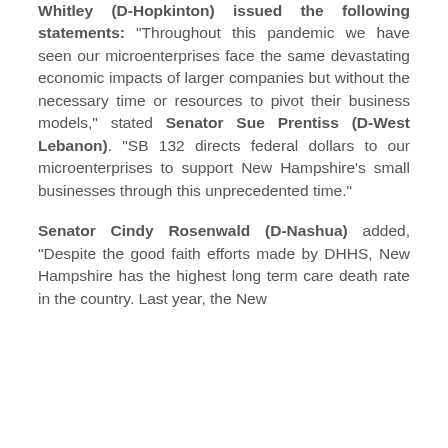Whitley (D-Hopkinton) issued the following statements: “Throughout this pandemic we have seen our microenterprises face the same devastating economic impacts of larger companies but without the necessary time or resources to pivot their business models,” stated Senator Sue Prentiss (D-West Lebanon). “SB 132 directs federal dollars to our microenterprises to support New Hampshire’s small businesses through this unprecedented time.”
Senator Cindy Rosenwald (D-Nashua) added, “Despite the good faith efforts made by DHHS, New Hampshire has the highest long term care death rate in the country. Last year, the New